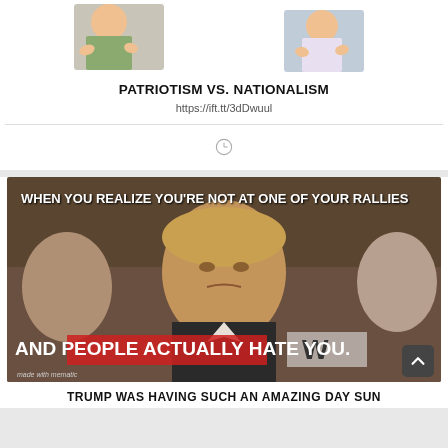[Figure (illustration): Cartoon illustration of two figures, partially visible at top of first card]
PATRIOTISM VS. NATIONALISM
https://ift.tt/3dDwuul
[Figure (photo): Meme image showing a man with a frowning expression in a crowd. Top text: WHEN YOU REALIZE YOU'RE NOT AT ONE OF YOUR RALLIES. Bottom text: AND PEOPLE ACTUALLY HATE YOU. Watermark: made with mematic]
TRUMP WAS HAVING SUCH AN AMAZING DAY SUN